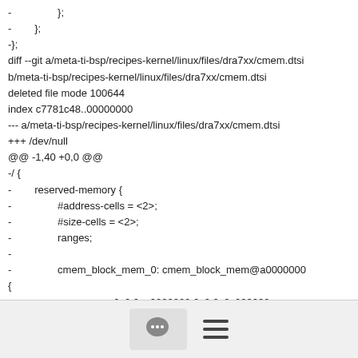-                };
-        };
-};
diff --git a/meta-ti-bsp/recipes-kernel/linux/files/dra7xx/cmem.dtsi b/meta-ti-bsp/recipes-kernel/linux/files/dra7xx/cmem.dtsi
deleted file mode 100644
index c7781c48..00000000
--- a/meta-ti-bsp/recipes-kernel/linux/files/dra7xx/cmem.dtsi
+++ /dev/null
@@ -1,40 +0,0 @@
-/ {
-        reserved-memory {
-                #address-cells = <2>;
-                #size-cells = <2>;
-                ranges;
-
-                cmem_block_mem_0: cmem_block_mem@a0000000 {
-                        reg = <0x0 0xa0000000 0x0 0x0c000000>;
[Figure (other): Footer bar with chat bubble icon button and hamburger menu icon]